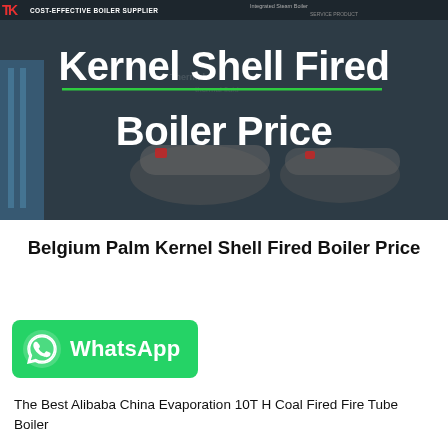[Figure (photo): Dark-themed hero banner showing industrial boilers/steam boilers in a factory setting. Top bar has red logo mark and 'COST-EFFECTIVE BOILER SUPPLIER' text. Large white bold text reads 'Kernel Shell Fired Boiler Price' with a green underline accent.]
Belgium Palm Kernel Shell Fired Boiler Price
[Figure (logo): WhatsApp button - green rounded rectangle with WhatsApp icon and 'WhatsApp' text in white]
The Best Alibaba China Evaporation 10T H Coal Fired Fire Tube Boiler...